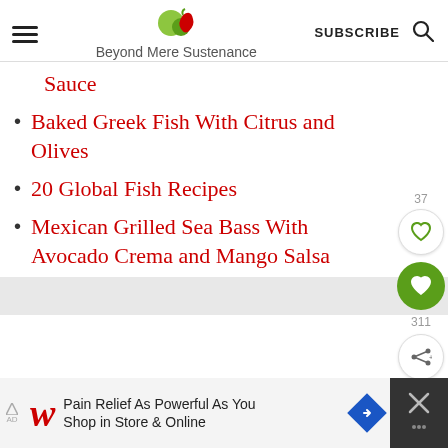Beyond Mere Sustenance — SUBSCRIBE
Sauce
Baked Greek Fish With Citrus and Olives
20 Global Fish Recipes
Mexican Grilled Sea Bass With Avocado Crema and Mango Salsa
[Figure (other): Social engagement buttons: heart icon with count 37, filled green heart button with count 311, share button]
[Figure (other): Walgreens advertisement: Pain Relief As Powerful As You Shop in Store & Online]